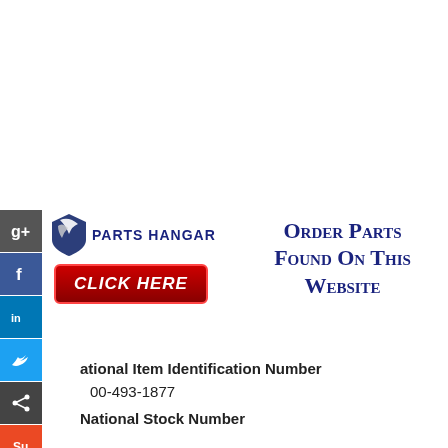[Figure (logo): Parts Hangar logo with shield graphic and company name, plus social media sidebar icons (Google+, Facebook, LinkedIn, Twitter, Share, StumbleUpon)]
Order Parts Found On This Website
[Figure (other): Red CLICK HERE button]
National Item Identification Number
00-493-1877
National Stock Number